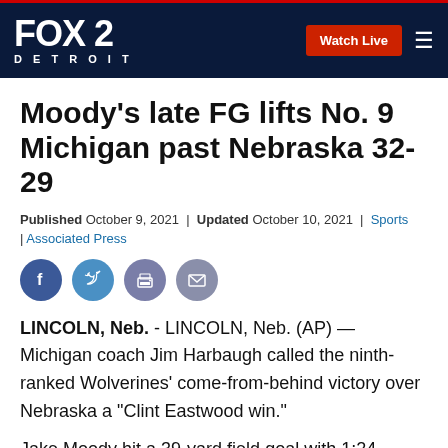FOX 2 DETROIT | Watch Live
Moody's late FG lifts No. 9 Michigan past Nebraska 32-29
Published October 9, 2021 | Updated October 10, 2021 | Sports | Associated Press
[Figure (other): Social share icons: Facebook, Twitter, Print, Email]
LINCOLN, Neb. - LINCOLN, Neb. (AP) — Michigan coach Jim Harbaugh called the ninth-ranked Wolverines' come-from-behind victory over Nebraska a "Clint Eastwood win."
Jake Moody hit a 39-yard field goal with 1:24 remaining